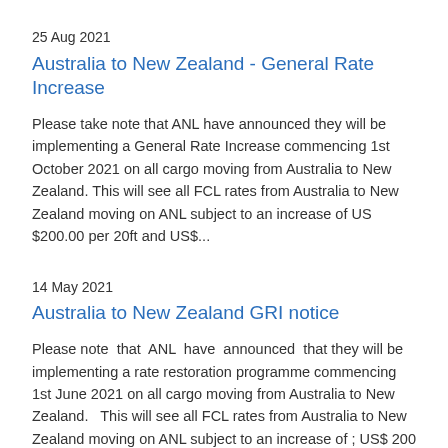25 Aug 2021
Australia to New Zealand - General Rate Increase
Please take note that ANL have announced they will be implementing a General Rate Increase commencing 1st October 2021 on all cargo moving from Australia to New Zealand. This will see all FCL rates from Australia to New Zealand moving on ANL subject to an increase of US $200.00 per 20ft and US$...
14 May 2021
Australia to New Zealand GRI notice
Please note that ANL have announced that they will be implementing a rate restoration programme commencing 1st June 2021 on all cargo moving from Australia to New Zealand.  This will see all FCL rates from Australia to New Zealand moving on ANL subject to an increase of ; US$ 200 per 20ft...